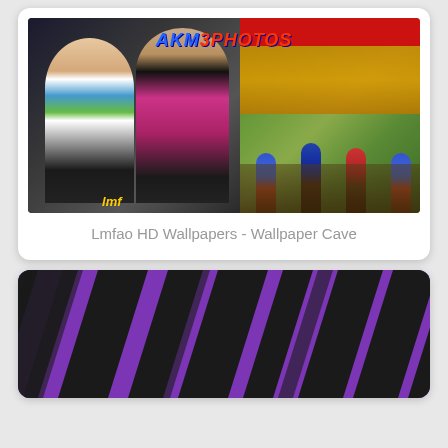[Figure (photo): Collage of LMFAO photos with AKM3PHOTOS watermark - left side shows two members of LMFAO with afro hair, right side shows dancers performing at what appears to a theme park or event venue]
Lmfao HD Wallpapers - Wallpaper Cave
[Figure (illustration): Purple and black zebra stripe pattern wallpaper background]